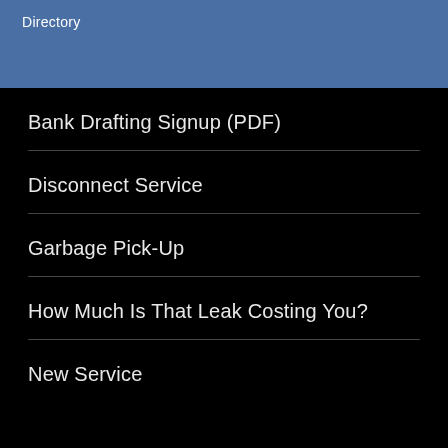Directory
Bank Drafting Signup (PDF)
Disconnect Service
Garbage Pick-Up
How Much Is That Leak Costing You?
New Service